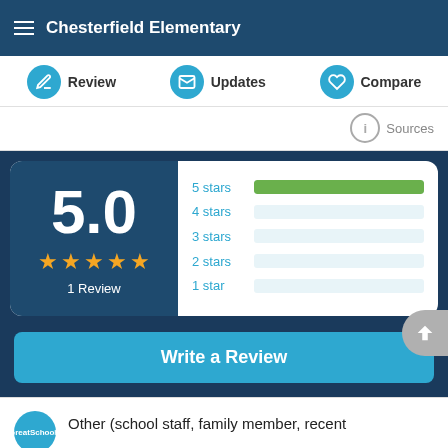Chesterfield Elementary
Review | Updates | Compare
Sources
[Figure (bar-chart): Star rating distribution]
5.0 — 1 Review
Write a Review
Other (school staff, family member, recent